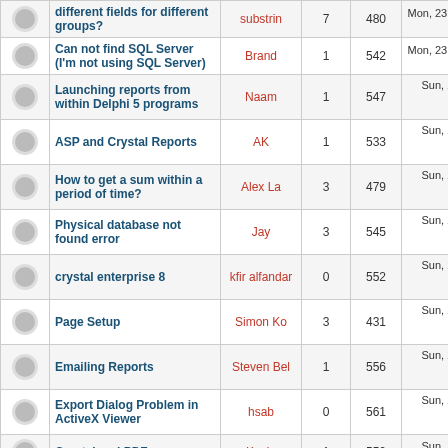|  | Topic | Author | Replies | Views | Last Post |
| --- | --- | --- | --- | --- | --- |
|  | different fields for different groups? | substrin | 7 | 480 | Mon, 23 Feb 2004 0
Jack Carpe |
|  | Can not find SQL Server (I'm not using SQL Server) | Brand | 1 | 542 | Mon, 23 Feb 2004 0
Brian & Tara |
|  | Launching reports from within Delphi 5 programs | Naam | 1 | 547 | Sun, 22 Feb 2004 23
Gert de Be |
|  | ASP and Crystal Reports | AK | 1 | 533 | Sun, 22 Feb 2004 22
J. Sarmie |
|  | How to get a sum within a period of time? | Alex La | 3 | 479 | Sun, 22 Feb 2004 18
Jack Carpe |
|  | Physical database not found error | Jay | 3 | 545 | Sun, 22 Feb 2004 18
Jay |
|  | crystal enterprise 8 | kfir alfandar | 0 | 552 | Sun, 22 Feb 2004 17
kfir alfand |
|  | Page Setup | Simon Ko | 3 | 431 | Sun, 22 Feb 2004 15
Bruce DiDu |
|  | Emailing Reports | Steven Bel | 1 | 556 | Sun, 22 Feb 2004 11
Brian & Tara |
|  | Export Dialog Problem in ActiveX Viewer | hsab | 0 | 561 | Sun, 22 Feb 2004 10
hsab |
|  | Crystal and PDF | Kevin | 1 | 550 | Sun, 22 Feb 2004 05 |